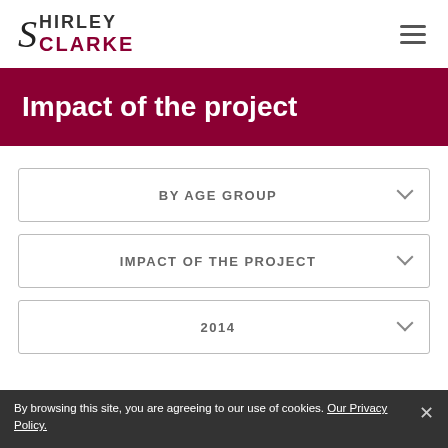Shirley Clarke
Impact of the project
BY AGE GROUP
IMPACT OF THE PROJECT
2014
By browsing this site, you are agreeing to our use of cookies. Our Privacy Policy.